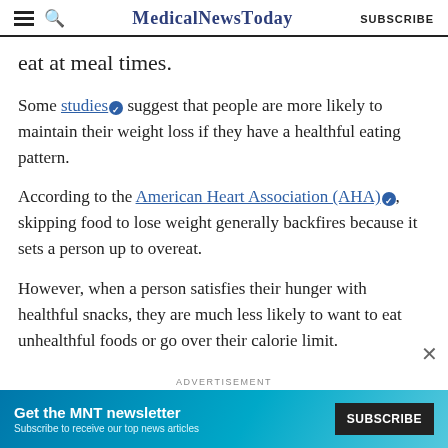MedicalNewsToday | SUBSCRIBE
eat at meal times.
Some studies suggest that people are more likely to maintain their weight loss if they have a healthful eating pattern.
According to the American Heart Association (AHA), skipping food to lose weight generally backfires because it sets a person up to overeat.
However, when a person satisfies their hunger with healthful snacks, they are much less likely to want to eat unhealthful foods or go over their calorie limit.
[Figure (screenshot): MNT newsletter advertisement banner with Subscribe button]